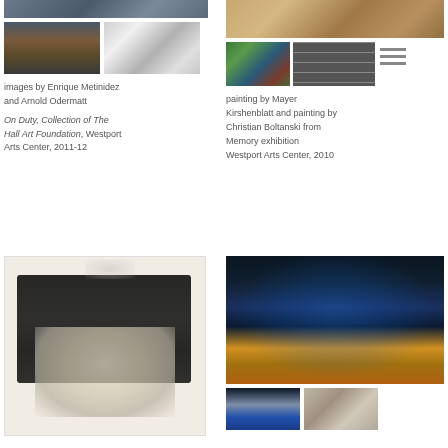[Figure (photo): Top left: wide panoramic photo of crowd/street scene (dark tones)]
[Figure (photo): Two smaller photos side by side: left shows buses/traffic in flood, right shows snow-covered car scene (black and white)]
images by Enrique Metinidez and Arnold Odermatt
On Duty, Collection of The Hall Art Foundation, Westport Arts Center, 2011-12
[Figure (photo): Right column top: painting showing interior room scene with figures, wooden furniture]
[Figure (photo): Right column middle row: left - painting of interior scene with figure, green walls; right - black and white grid of crowd photographs; far right - hamburger menu icon]
painting by Mayer Kirshenblatt and painting by Christian Boltanski from Memory exhibition Westport Arts Center, 2010
[Figure (illustration): Bottom left: black and white surrealist ink drawing with monsters/creatures and city skyline]
[Figure (photo): Bottom right top: photo of illuminated blue fountain/sculpture at night (Rockefeller Center area)]
[Figure (photo): Bottom right: two smaller photos - left shows blue lit tree/structure at night, right shows aerial or landscape in grey tones]